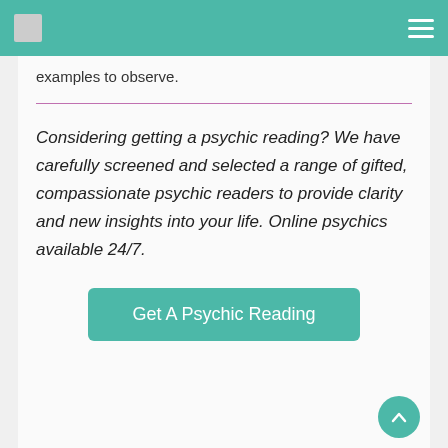examples to observe.
Considering getting a psychic reading? We have carefully screened and selected a range of gifted, compassionate psychic readers to provide clarity and new insights into your life. Online psychics available 24/7.
Get A Psychic Reading